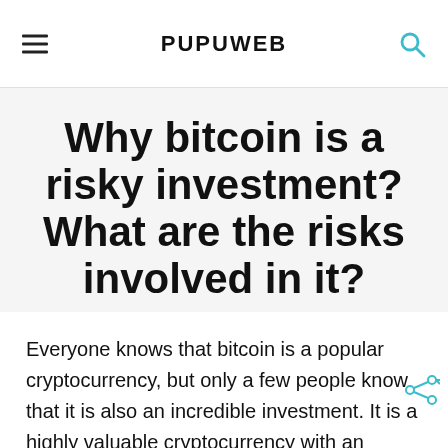PUPUWEB
Why bitcoin is a risky investment? What are the risks involved in it?
Everyone knows that bitcoin is a popular cryptocurrency, but only a few people know that it is also an incredible investment. It is a highly valuable cryptocurrency with an excellent future scope, but several risks are involved. If you want to